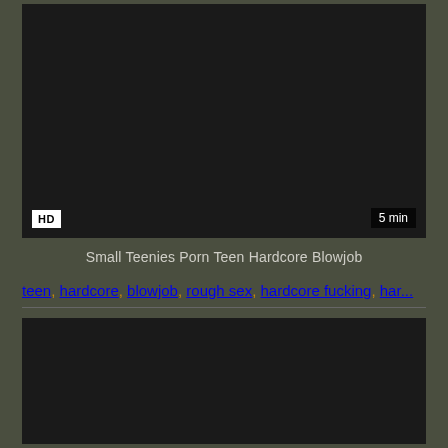[Figure (screenshot): Dark video thumbnail with HD badge bottom-left and '5 min' duration badge bottom-right]
Small Teenies Porn Teen Hardcore Blowjob
teen, hardcore, blowjob, rough sex, hardcore fucking, har...
[Figure (screenshot): Dark video thumbnail, partially visible at bottom of page]